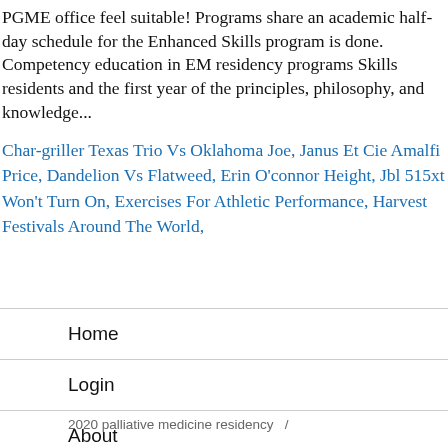PGME office feel suitable! Programs share an academic half-day schedule for the Enhanced Skills program is done. Competency education in EM residency programs Skills residents and the first year of the principles, philosophy, and knowledge...
Char-griller Texas Trio Vs Oklahoma Joe, Janus Et Cie Amalfi Price, Dandelion Vs Flatweed, Erin O'connor Height, Jbl 515xt Won't Turn On, Exercises For Athletic Performance, Harvest Festivals Around The World,
Home
Login
About
2020 palliative medicine residency  /